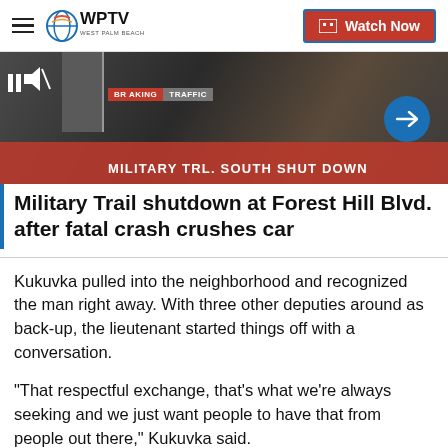WPTV | Watch Now
[Figure (screenshot): WPTV news video thumbnail showing breaking traffic news: MILITARY TRL. SOUTH SHUT DOWN, with a blue circle arrow button on the right]
Military Trail shutdown at Forest Hill Blvd. after fatal crash crushes car
Kukuvka pulled into the neighborhood and recognized the man right away. With three other deputies around as back-up, the lieutenant started things off with a conversation.
“That respectful exchange, that’s what we’re always seeking and we just want people to have that from people out there,” Kukuvka said.